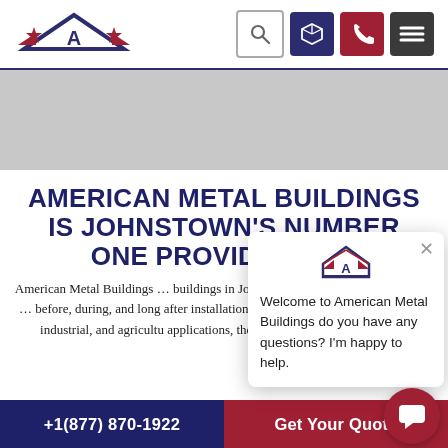American Metal Buildings – navigation header with logo and icons: search, 3D cube, phone, menu
[Figure (photo): Hero image area – gray placeholder representing a building or background image]
AMERICAN METAL BUILDINGS IS JOHNSTOWN'S NUMBER ONE PROVIDER FOR
American Metal Buildings … buildings in Johnstown … incredibly durable, and … before, during, and long after installation. Between residential, commercial, industrial, and agricultural applications, these Johnstown metal structures
[Figure (screenshot): Chat popup overlay with American Metal Buildings logo and message: Welcome to American Metal Buildings do you have any questions? I'm happy to help. Includes close X button.]
+1(877) 870-1922  |  Get Your Quote